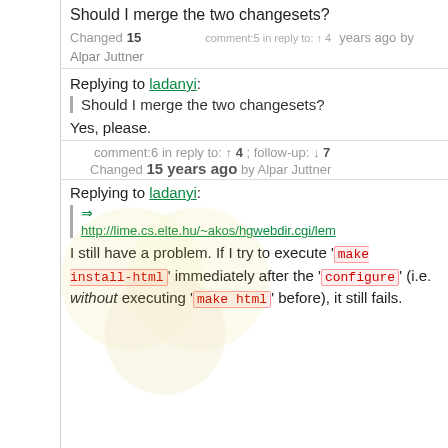Should I merge the two changesets?
Changed 15 years ago by Alpar Juttner comment:5 in reply to: ↑ 4
Replying to ladanyi:
Should I merge the two changesets?
Yes, please.
comment:6 in reply to: ↑ 4 ; follow-up: ↓ 7 Changed 15 years ago by Alpar Juttner
Replying to ladanyi:
⇒ http://lime.cs.elte.hu/~akos/hgwebdir.cgi/lem...
I still have a problem. If I try to execute 'make install-html' immediately after the 'configure' (i.e. without executing 'make html' before), it still fails.